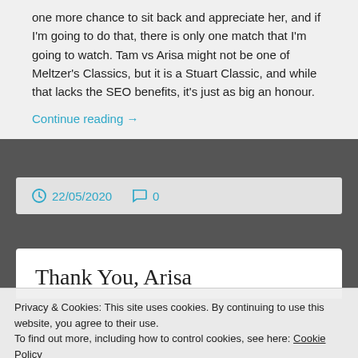one more chance to sit back and appreciate her, and if I'm going to do that, there is only one match that I'm going to watch. Tam vs Arisa might not be one of Meltzer's Classics, but it is a Stuart Classic, and while that lacks the SEO benefits, it's just as big an honour.
Continue reading →
22/05/2020   0
Thank You, Arisa
Privacy & Cookies: This site uses cookies. By continuing to use this website, you agree to their use.
To find out more, including how to control cookies, see here: Cookie Policy
Close and accept